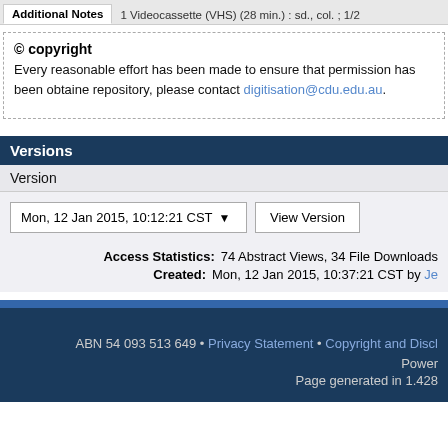Additional Notes | 1 Videocassette (VHS) (28 min.) : sd., col. ; 1/2
© copyright
Every reasonable effort has been made to ensure that permission has been obtained repository, please contact digitisation@cdu.edu.au.
Versions
Version
Mon, 12 Jan 2015, 10:12:21 CST  View Version
Access Statistics: 74 Abstract Views, 34 File Downloads
Created: Mon, 12 Jan 2015, 10:37:21 CST by Je
ABN 54 093 513 649 • Privacy Statement • Copyright and Discl
Power
Page generated in 1.428